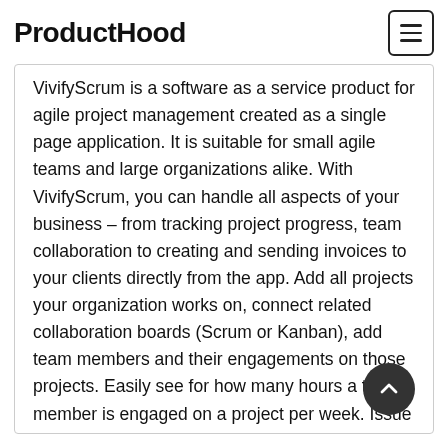ProductHood
VivifyScrum is a software as a service product for agile project management created as a single page application. It is suitable for small agile teams and large organizations alike. With VivifyScrum, you can handle all aspects of your business – from tracking project progress, team collaboration to creating and sending invoices to your clients directly from the app. Add all projects your organization works on, connect related collaboration boards (Scrum or Kanban), add team members and their engagements on those projects. Easily see for how many hours a team member is engaged on a project per week. Issue